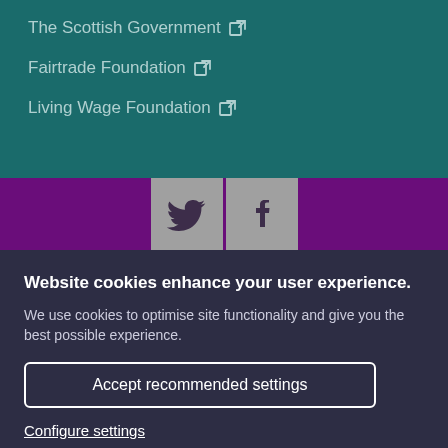The Scottish Government [external link]
Fairtrade Foundation [external link]
Living Wage Foundation [external link]
[Figure (other): Social media icons: Twitter and Facebook on a purple bar]
Website cookies enhance your user experience. We use cookies to optimise site functionality and give you the best possible experience.
Accept recommended settings
Configure settings